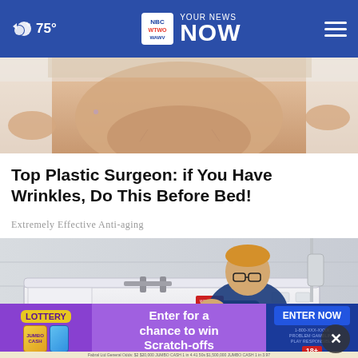☁ 75° | WTWO WAWV NBC 2 YOUR NEWS NOW
[Figure (photo): Close-up photo of a person's face and neck, with hands touching the face, showing skin texture]
Top Plastic Surgeon: if You Have Wrinkles, Do This Before Bed!
Extremely Effective Anti-aging
[Figure (photo): Man with glasses in a navy shirt sitting in a white walk-in bathtub in a tiled bathroom, with a handicap symbol visible on the tub]
Enter for a chance to win Scratch-offs
ENTER NOW